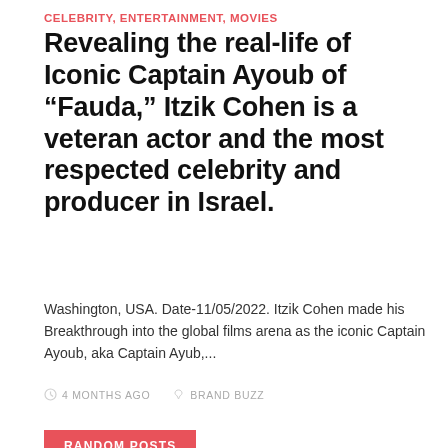CELEBRITY, ENTERTAINMENT, MOVIES
Revealing the real-life of Iconic Captain Ayoub of “Fauda,” Itzik Cohen is a veteran actor and the most respected celebrity and producer in Israel.
Washington, USA. Date-11/05/2022. Itzik Cohen made his Breakthrough into the global films arena as the iconic Captain Ayoub, aka Captain Ayub,...
4 MONTHS AGO   BRAND BUZZ
RANDOM POSTS
[Figure (photo): Photo of a baseball player wearing a NY Yankees cap, mid-pitch motion against a blue stadium background]